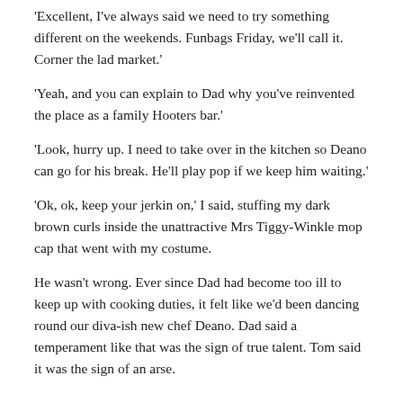'Excellent, I've always said we need to try something different on the weekends. Funbags Friday, we'll call it. Corner the lad market.'
'Yeah, and you can explain to Dad why you've reinvented the place as a family Hooters bar.'
'Look, hurry up. I need to take over in the kitchen so Deano can go for his break. He'll play pop if we keep him waiting.'
'Ok, ok, keep your jerkin on,' I said, stuffing my dark brown curls inside the unattractive Mrs Tiggy-Winkle mop cap that went with my costume.
He wasn't wrong. Ever since Dad had become too ill to keep up with cooking duties, it felt like we'd been dancing round our diva-ish new chef Deano. Dad said a temperament like that was the sign of true talent. Tom said it was the sign of an arse.